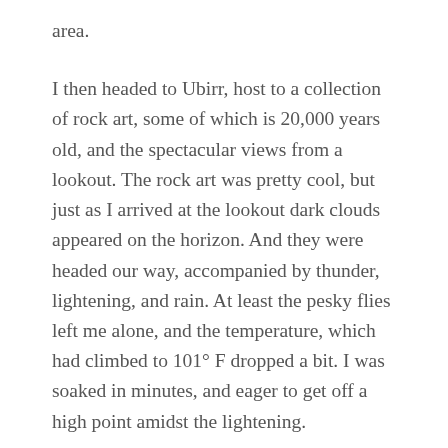area.
I then headed to Ubirr, host to a collection of rock art, some of which is 20,000 years old, and the spectacular views from a lookout. The rock art was pretty cool, but just as I arrived at the lookout dark clouds appeared on the horizon. And they were headed our way, accompanied by thunder, lightening, and rain. At least the pesky flies left me alone, and the temperature, which had climbed to 101° F dropped a bit. I was soaked in minutes, and eager to get off a high point amidst the lightening.
So I didn't see the sunset I expected from Ubirr, but on the 40-minute drive back to Jabiru I was treated to a final burst of color as dusk descended